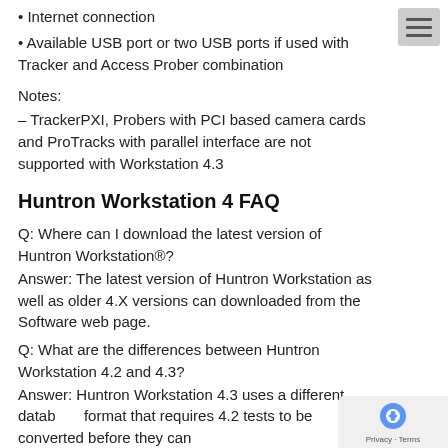• Internet connection
• Available USB port or two USB ports if used with Tracker and Access Prober combination
Notes:
– TrackerPXI, Probers with PCI based camera cards and ProTracks with parallel interface are not supported with Workstation 4.3
Huntron Workstation 4 FAQ
Q: Where can I download the latest version of Huntron Workstation®?
Answer: The latest version of Huntron Workstation as well as older 4.X versions can downloaded from the Software web page.
Q: What are the differences between Huntron Workstation 4.2 and 4.3?
Answer: Huntron Workstation 4.3 uses a different database format that requires 4.2 tests to be converted before they can